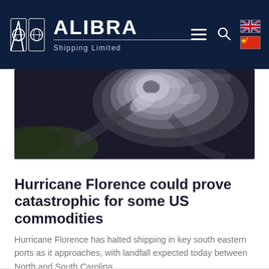ALIBRA Shipping Limited
[Figure (photo): Satellite aerial view of Hurricane Florence approaching the US southeastern coastline, showing the hurricane's spiral cloud formation over dark ocean and land.]
Hurricane Florence could prove catastrophic for some US commodities
Hurricane Florence has halted shipping in key south eastern ports as it approaches, with landfall expected today between North and South Carolina.
READ MORE »